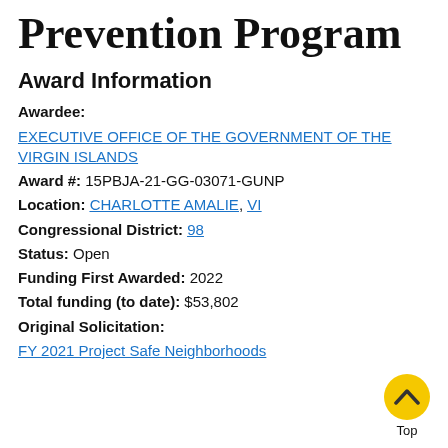Prevention Program
Award Information
Awardee: EXECUTIVE OFFICE OF THE GOVERNMENT OF THE VIRGIN ISLANDS
Award #: 15PBJA-21-GG-03071-GUNP
Location: CHARLOTTE AMALIE, VI
Congressional District: 98
Status: Open
Funding First Awarded: 2022
Total funding (to date): $53,802
Original Solicitation:
FY 2021 Project Safe Neighborhoods